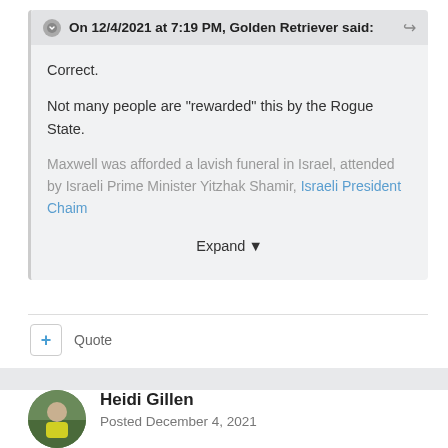On 12/4/2021 at 7:19 PM, Golden Retriever said:
Correct.
Not many people are "rewarded" this by the Rogue State.
Maxwell was afforded a lavish funeral in Israel, attended by Israeli Prime Minister Yitzhak Shamir, Israeli President Chaim
Expand
+ Quote
Heidi Gillen
Posted December 4, 2021